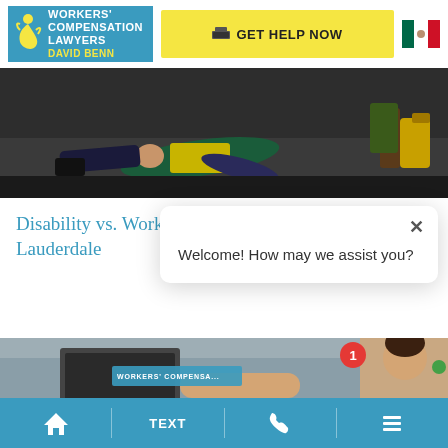[Figure (logo): Workers' Compensation Lawyers David Benn logo with teal background and yellow figure]
[Figure (photo): Worker in yellow safety vest lying on industrial floor, injured]
Disability vs. Workers Comp in Ft. Lauderdale
[Figure (screenshot): Chat popup overlay with X close button and message: Welcome! How may we assist you?]
Welcome! How may we assist you?
[Figure (photo): Person at desk with laptop, Workers Compensation label overlay, chat avatar of smiling woman with notification badge showing 1 and green online dot]
Home | TEXT | Phone | Menu